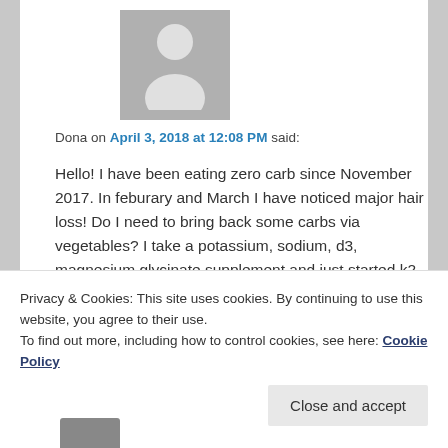[Figure (illustration): Gray placeholder avatar icon showing a person silhouette]
Dona on April 3, 2018 at 12:08 PM said:
Hello! I have been eating zero carb since November 2017. In feburary and March I have noticed major hair loss! Do I need to bring back some carbs via vegetables? I take a potassium, sodium, d3, magnesium glycinate supplement and just started k2 and zinc supplements hoping this will help. I am 42. 5'4. I jog and workout every day. Help!!!
Privacy & Cookies: This site uses cookies. By continuing to use this website, you agree to their use.
To find out more, including how to control cookies, see here: Cookie Policy
Close and accept